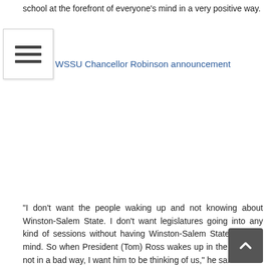school at the forefront of everyone’s mind in a very positive way.
WSSU Chancellor Robinson announcement
“I don’t want the people waking up and not knowing about Winston-Salem State. I don’t want legislatures going into any kind of sessions without having Winston-Salem State on their mind. So when President (Tom) Ross wakes up in the morning, not in a bad way, I want him to be thinking of us,” he said.